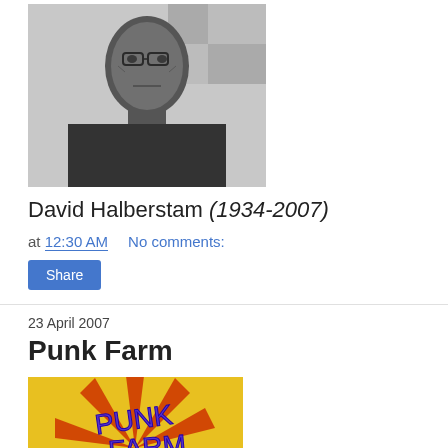[Figure (photo): Black and white photograph of David Halberstam, an elderly man wearing a dark sweater, looking directly at the camera with a serious expression]
David Halberstam (1934-2007)
at 12:30 AM   No comments:
Share
23 April 2007
Punk Farm
[Figure (photo): Colorful book cover of 'Punk Farm' featuring cartoon animals playing instruments against a burst of yellow and red rays, with the title in bold purple/blue letters]